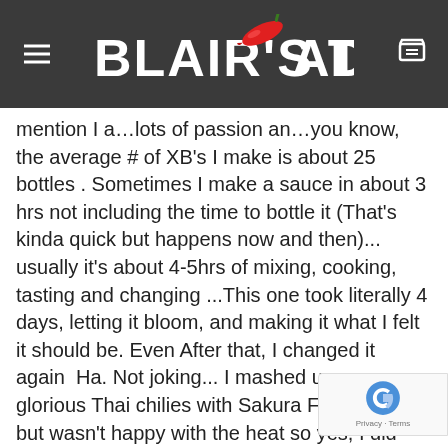BLAIR'S DEATH (logo with chili pepper)
mention I a...lots of passion an...you know, the average # of XB's I make is about 25 bottles . Sometimes I make a sauce in about 3 hrs not including the time to bottle it (That's kinda quick but happens now and then)... usually it's about 4-5hrs of mixing, cooking, tasting and changing ...This one took literally 4 days, letting it bloom, and making it what I felt it should be. Even After that, I changed it again  Ha. Not joking... I mashed up some glorious Thai chilies with Sakura Flower Petals but wasn't happy with the heat so yes, I did add some wicked Red Scorpions but I did something different with those as I soaked them in the Juice and Pulp of some very rare & freshly picked gorgeous citrus fruits including Nagami Kumquats & Kishu Mandarins grown in New J... from a...Robert Plum...Added Sauce for the Cali...